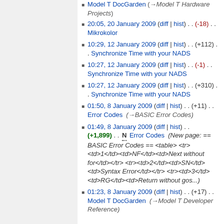Model T DocGarden (→Model T Hardware Projects)
20:05, 20 January 2009 (diff | hist) . . (-18) . . Mikrokolor
10:29, 12 January 2009 (diff | hist) . . (+112) . . Synchronize Time with your NADS
10:27, 12 January 2009 (diff | hist) . . (-1) . . Synchronize Time with your NADS
10:27, 12 January 2009 (diff | hist) . . (+310) . . Synchronize Time with your NADS
01:50, 8 January 2009 (diff | hist) . . (+11) . . Error Codes (→BASIC Error Codes)
01:49, 8 January 2009 (diff | hist) . . (+1,899) . . N Error Codes (New page: == BASIC Error Codes == <table> <tr><td>1</td><td>NF</td><td>Next without for</td></tr> <tr><td>2</td><td>SN</td><td>Syntax Error</td></tr> <tr><td>3</td><td>RG</td><td>Return without gos...)
01:23, 8 January 2009 (diff | hist) . . (+17) . . Model T DocGarden (→Model T Developer Reference)